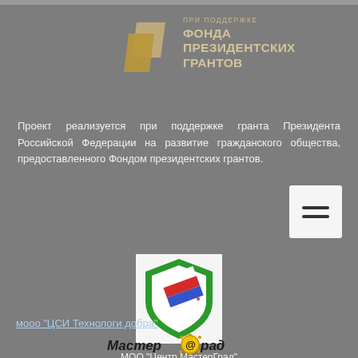[Figure (logo): Фонд президентских грантов logo: two overlapping gold/beige parallelogram shapes on the left, with Russian text on the right reading 'ПРИ ПОДДЕРЖКЕ ФОНДА ПРЕЗИДЕНТСКИХ ГРАНТОВ']
Проект реализуется при поддержке гранта Президента Российской Федерации на развитие гражданского общества, предоставленного Фондом президентских грантов.
[Figure (logo): Shield-shaped logo with green border, containing Russian tricolor stripes and small dots/stars pattern, on white background]
мооо "ЦСИ Технологи добра"
[Figure (logo): MастерГрад logo in italic bold font with a circular '@' symbol in the middle, with decorative dots around the circle]
МОО "Центр МастерГрад"